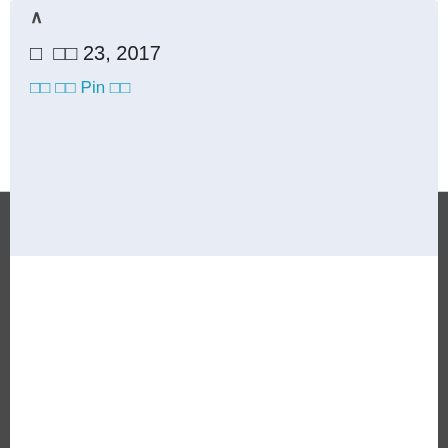[Figure (photo): LEIBISH advertisement banner showing two heart-shaped yellow diamond stud earrings in gold settings against white background]
✕ ▷
월 일 23, 2017
공유 저장 Pin 하기